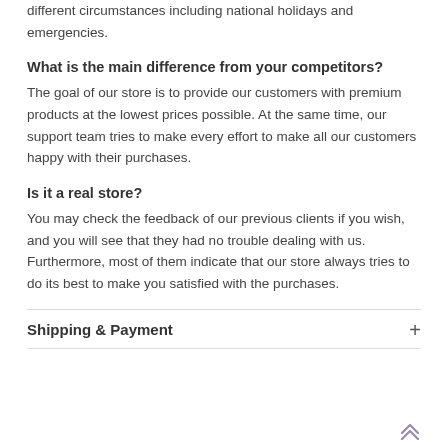different circumstances including national holidays and emergencies.
What is the main difference from your competitors?
The goal of our store is to provide our customers with premium products at the lowest prices possible. At the same time, our support team tries to make every effort to make all our customers happy with their purchases.
Is it a real store?
You may check the feedback of our previous clients if you wish, and you will see that they had no trouble dealing with us. Furthermore, most of them indicate that our store always tries to do its best to make you satisfied with the purchases.
Shipping & Payment